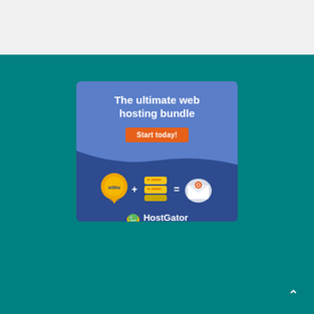[Figure (screenshot): Light gray top bar area]
[Figure (infographic): HostGator advertisement banner on teal background. Blue box with text 'The ultimate web hosting bundle', orange 'Start today!' button, icons of www domain pin + server stack = email envelope, and HostGator logo at bottom.]